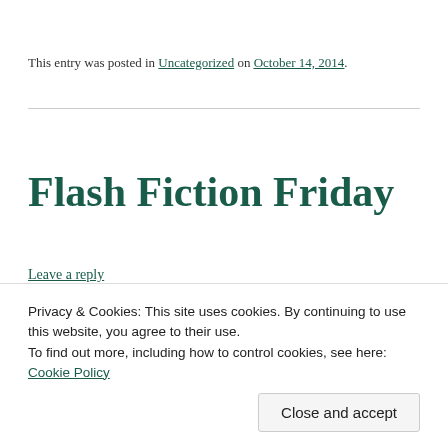This entry was posted in Uncategorized on October 14, 2014.
Flash Fiction Friday
Leave a reply
[Figure (photo): Partial image strip visible at top, appears to be a photograph partially cut off]
Privacy & Cookies: This site uses cookies. By continuing to use this website, you agree to their use.
To find out more, including how to control cookies, see here: Cookie Policy
Close and accept